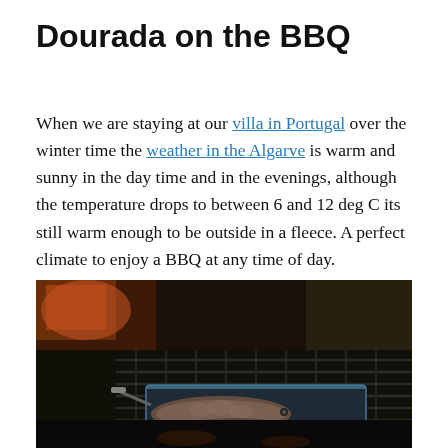Dourada on the BBQ
When we are staying at our villa in Portugal over the winter time the weather in the Algarve is warm and sunny in the day time and in the evenings, although the temperature drops to between 6 and 12 deg C its still warm enough to be outside in a fleece. A perfect climate to enjoy a BBQ at any time of day.
[Figure (photo): Photo of fish (dourada/sea bream) on a BBQ grill in a dark outdoor setting, fish visible in a tray on the grill grates]